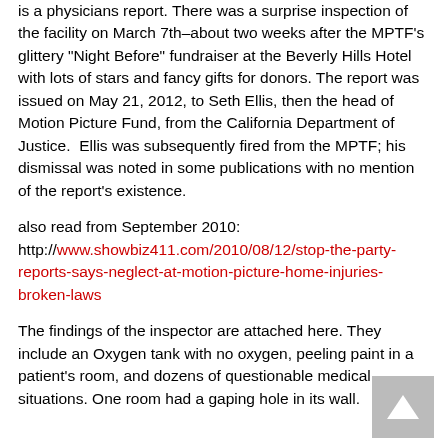is a physicians report. There was a surprise inspection of the facility on March 7th–about two weeks after the MPTF's glittery "Night Before" fundraiser at the Beverly Hills Hotel with lots of stars and fancy gifts for donors. The report was issued on May 21, 2012, to Seth Ellis, then the head of Motion Picture Fund, from the California Department of Justice.  Ellis was subsequently fired from the MPTF; his dismissal was noted in some publications with no mention of the report's existence.
also read from September 2010: http://www.showbiz411.com/2010/08/12/stop-the-party-reports-says-neglect-at-motion-picture-home-injuries-broken-laws
The findings of the inspector are attached here. They include an Oxygen tank with no oxygen, peeling paint in a patient's room, and dozens of questionable medical situations. One room had a gaping hole in its wall.